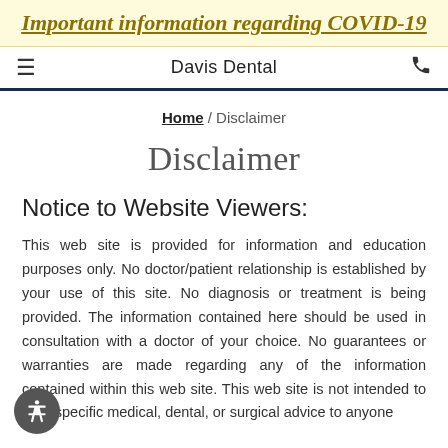Important information regarding COVID-19
Davis Dental
Home / Disclaimer
Disclaimer
Notice to Website Viewers:
This web site is provided for information and education purposes only. No doctor/patient relationship is established by your use of this site. No diagnosis or treatment is being provided. The information contained here should be used in consultation with a doctor of your choice. No guarantees or warranties are made regarding any of the information contained within this web site. This web site is not intended to offer specific medical, dental, or surgical advice to anyone